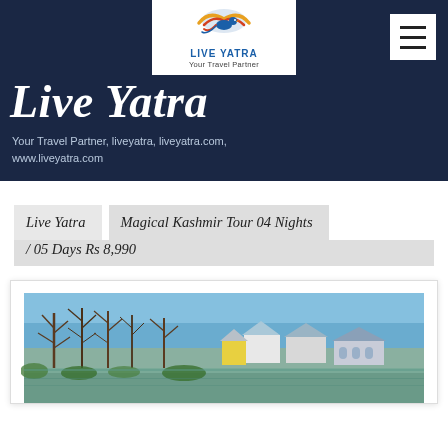[Figure (logo): Live Yatra logo — colorful bird/travel icon above text 'LIVE YATRA Your Travel Partner' on white background]
Live Yatra
Your Travel Partner, liveyatra, liveyatra.com, www.liveyatra.com
Live Yatra   Magical Kashmir Tour 04 Nights / 05 Days Rs 8,990
[Figure (photo): Photograph of Kashmir scenic view: houses/houseboats near water with bare trees in foreground and blue sky.]